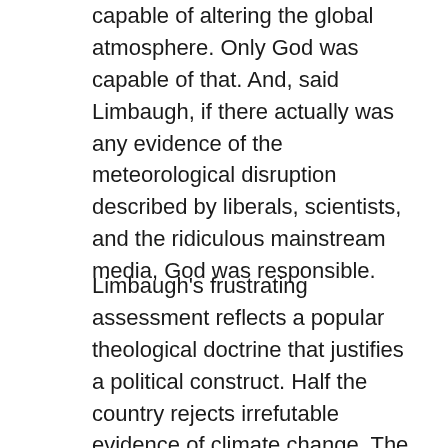capable of altering the global atmosphere. Only God was capable of that. And, said Limbaugh, if there actually was any evidence of the meteorological disruption described by liberals, scientists, and the ridiculous mainstream media, God was responsible.
Limbaugh's frustrating assessment reflects a popular theological doctrine that justifies a political construct. Half the country rejects irrefutable evidence of climate change. The back story, of course, is how impediments to climate action support the fossil fuel industry and its user group allies — utilities, railroads, airlines, vehicle manufacturers, elected officials. They are flat out